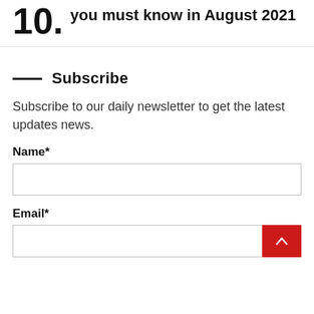10. Updates: Latest Social Media Updates you must know in August 2021
— Subscribe
Subscribe to our daily newsletter to get the latest updates news.
Name*
Email*